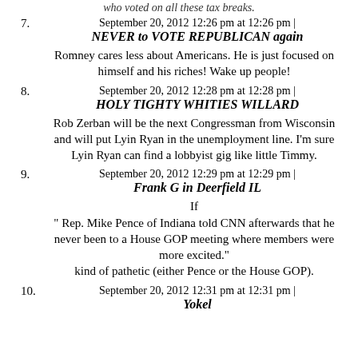who voted on all these tax breaks.
7. September 20, 2012 12:26 pm at 12:26 pm | NEVER to VOTE REPUBLICAN again
Romney cares less about Americans. He is just focused on himself and his riches! Wake up people!
8. September 20, 2012 12:28 pm at 12:28 pm | HOLY TIGHTY WHITIES WILLARD
Rob Zerban will be the next Congressman from Wisconsin and will put Lyin Ryan in the unemployment line. I'm sure Lyin Ryan can find a lobbyist gig like little Timmy.
9. September 20, 2012 12:29 pm at 12:29 pm | Frank G in Deerfield IL
If
" Rep. Mike Pence of Indiana told CNN afterwards that he never been to a House GOP meeting where members were more excited."
kind of pathetic (either Pence or the House GOP).
10. September 20, 2012 12:31 pm at 12:31 pm | Yokel